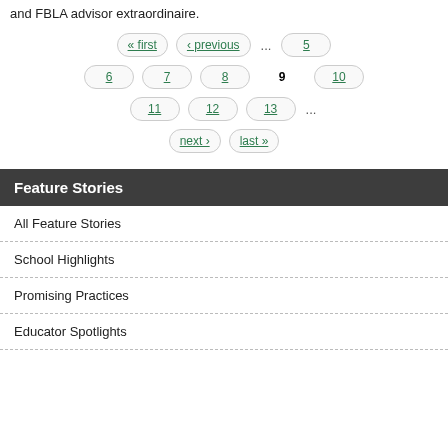and FBLA advisor extraordinaire.
Pagination: « first, ‹ previous, ..., 5, 6, 7, 8, 9 (current), 10, 11, 12, 13, ..., next ›, last »
Feature Stories
All Feature Stories
School Highlights
Promising Practices
Educator Spotlights